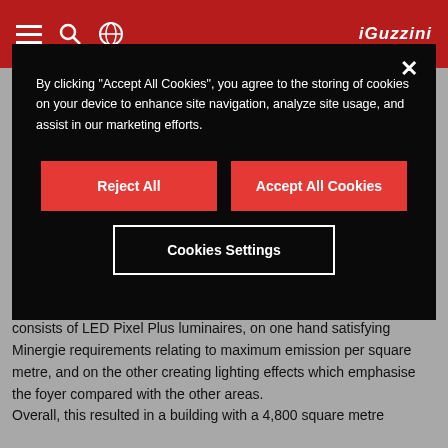[Figure (screenshot): Red navigation header bar with hamburger menu, search, globe icons on the left and a logo on the right]
By clicking "Accept All Cookies", you agree to the storing of cookies on your device to enhance site navigation, analyze site usage, and assist in our marketing efforts.
Reject All
Accept All Cookies
Cookies Settings
luminaires were used, avoiding glare. Finally, the foyer lighting consists of LED Pixel Plus luminaires, on one hand satisfying Minergie requirements relating to maximum emission per square metre, and on the other creating lighting effects which emphasise the foyer compared with the other areas.
Overall, this resulted in a building with a 4,800 square metre